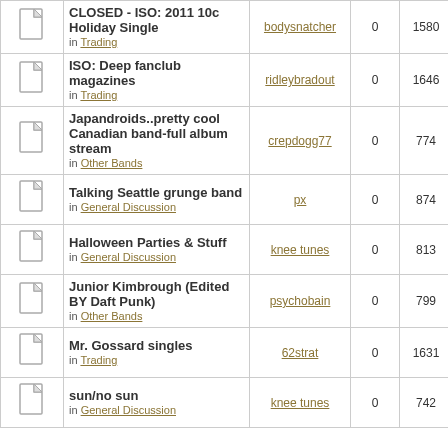|  | Topic | Author | Replies | Views | Last Post |
| --- | --- | --- | --- | --- | --- |
|  | CLOSED - ISO: 2011 10c Holiday Single
in Trading | bodysnatcher | 0 | 1580 | Thu Oc 5:5 bodysna |
|  | ISO: Deep fanclub magazines
in Trading | ridleybradout | 0 | 1646 | Wed Oc 11: ridleybr |
|  | Japandroids..pretty cool Canadian band-full album stream
in Other Bands | crepdogg77 | 0 | 774 | Mon Oc 12: crepdo |
|  | Talking Seattle grunge band
in General Discussion | px | 0 | 874 | Mon Oc 3:5 px |
|  | Halloween Parties & Stuff
in General Discussion | knee tunes | 0 | 813 | Sun Oc 8:0 knee t |
|  | Junior Kimbrough (Edited BY Daft Punk)
in Other Bands | psychobain | 0 | 799 | Wed Oc 9:3 psycho |
|  | Mr. Gossard singles
in Trading | 62strat | 0 | 1631 | Mon Oc 6:3 62st |
|  | sun/no sun
in General Discussion | knee tunes | 0 | 742 | Mon Oc 5:0 knee t |